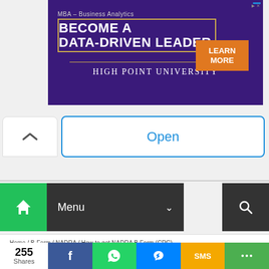[Figure (screenshot): MBA Business Analytics advertisement banner for High Point University with purple background, 'Become a Data-Driven Leader' text, and orange Learn More button]
Open
[Figure (screenshot): Website navigation bar with green home icon, dark Menu button with dropdown, and dark search icon]
Home / B-Form / NADRA / How to get NADRA B Form (CRC)
How to get NADRA B
255 Shares